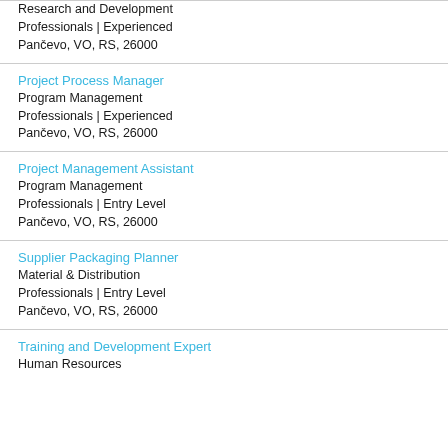Research and Development
Professionals | Experienced
Pančevo, VO, RS, 26000
Project Process Manager
Program Management
Professionals | Experienced
Pančevo, VO, RS, 26000
Project Management Assistant
Program Management
Professionals | Entry Level
Pančevo, VO, RS, 26000
Supplier Packaging Planner
Material & Distribution
Professionals | Entry Level
Pančevo, VO, RS, 26000
Training and Development Expert
Human Resources